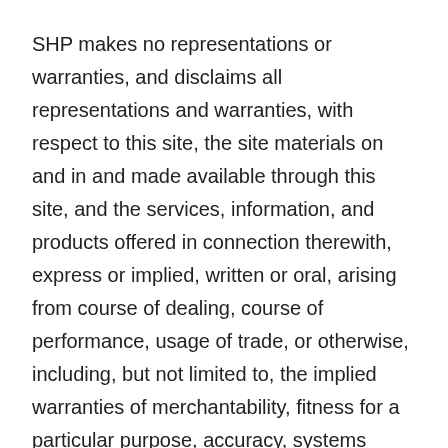SHP makes no representations or warranties, and disclaims all representations and warranties, with respect to this site, the site materials on and in and made available through this site, and the services, information, and products offered in connection therewith, express or implied, written or oral, arising from course of dealing, course of performance, usage of trade, or otherwise, including, but not limited to, the implied warranties of merchantability, fitness for a particular purpose, accuracy, systems integration, non-interference, quality, title, and non-infringement. The entire risk as to satisfactory quality, performance, accuracy, and effort with regard to any and all site materials on and in and made available through this site is with you.
SHP shall not be liable for any direct, special, indirect, incidental, consequential, exemplary, extra-contractual, or punitive damages of any kind whatever, including, without